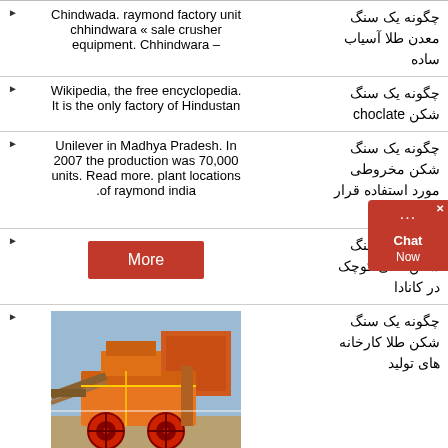Chindwada. raymond factory unit chhindwara « sale crusher equipment. Chhindwara –
Wikipedia, the free encyclopedia. It is the only factory of Hindustan
Unilever in Madhya Pradesh. In 2007 the production was 70,000 units. Read more. plant locations of raymond india.
More
[Figure (photo): Industrial mining/crushing machinery, orange colored equipment with large wheels]
آسیاب های پشمی ریمون